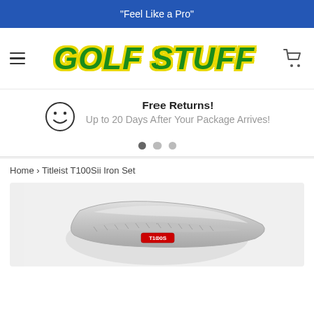"Feel Like a Pro"
[Figure (logo): Golf Stuff store logo in green bold italic text with yellow outline, hamburger menu icon on the left, shopping cart icon on the right]
Free Returns!
Up to 20 Days After Your Package Arrives!
Home › Titleist T100Sii Iron Set
[Figure (photo): Close-up photograph of a silver/chrome Titleist T100S iron golf club head against a light gray background]